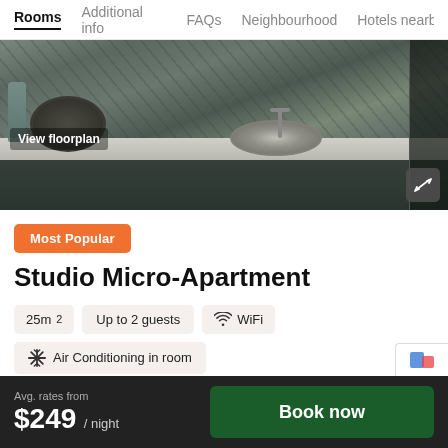Rooms | Additional info | FAQs | Neighbourhood | Hotels nearby
[Figure (photo): Photo of a modern kitchen showing a marble-style stone backsplash, dark cabinetry, a round stainless steel sink, and a countertop. A 'View floorplan' button overlay is visible at the bottom left, and an expand/fullscreen icon button at the bottom right.]
Most Popular
Studio Micro-Apartment
25m²
Up to 2 guests
WiFi
Air Conditioning in room
+ 14 more
Avg. rates from $249 / night  Book now